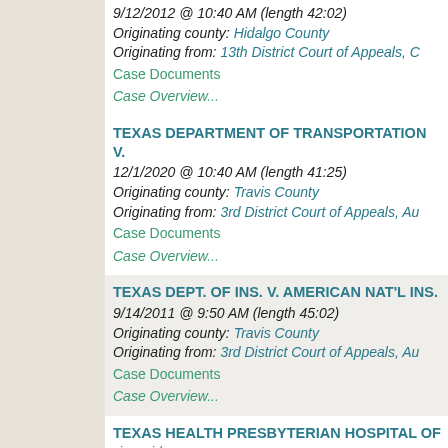9/12/2012 @ 10:40 AM (length 42:02) Originating county: Hidalgo County Originating from: 13th District Court of Appeals, C Case Documents Case Overview...
TEXAS DEPARTMENT OF TRANSPORTATION V. 12/1/2020 @ 10:40 AM (length 41:25) Originating county: Travis County Originating from: 3rd District Court of Appeals, Au Case Documents Case Overview...
TEXAS DEPT. OF INS. V. AMERICAN NAT'L INS. 9/14/2011 @ 9:50 AM (length 45:02) Originating county: Travis County Originating from: 3rd District Court of Appeals, Au Case Documents Case Overview...
TEXAS HEALTH PRESBYTERIAN HOSPITAL OF view video 10/9/2018 @ 9:50 AM (length 42:26) Originating county: Denton County Originating from: 2nd District Court of Appeals, Fo Case Documents Case Overview...
TEXAS INDUSTRIAL ENERGY CONSUMERS V. LLC (08-0727) - view video 10/6/2009 @ 10:40 AM (length 41:53)